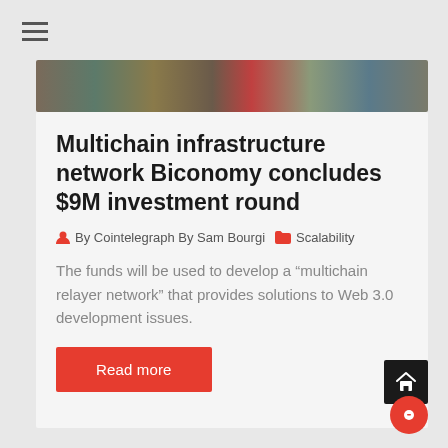[Figure (other): Hamburger menu icon (three horizontal lines) in top-left corner]
[Figure (photo): Horizontal strip of colorful images at the top of the article card]
Multichain infrastructure network Biconomy concludes $9M investment round
By Cointelegraph By Sam Bourgi   Scalability
The funds will be used to develop a “multichain relayer network” that provides solutions to Web 3.0 development issues.
Read more
[Figure (other): Black square home button with house icon, bottom-right]
[Figure (other): Red circular chat/message button, bottom-right below home button]